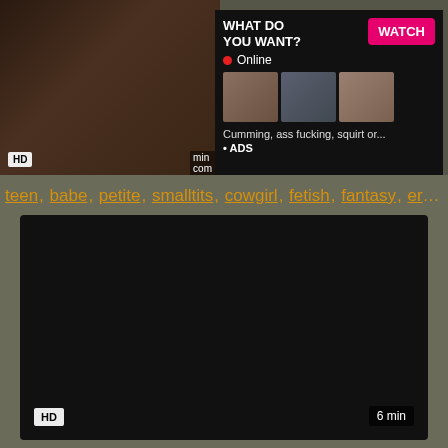[Figure (screenshot): Video thumbnail with dark background showing a person]
[Figure (advertisement): Ad overlay with WHAT DO YOU WANT? headline, WATCH button, Online status, three thumbnail images, and text about adult content]
teen, babe, petite, smalltits, cowgirl, fetish, fantasy, erotic...
[Figure (screenshot): Dark video player area with HD badge and 6 min duration label]